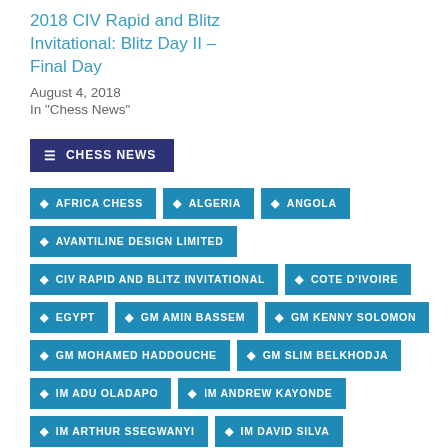2018 CIV Rapid and Blitz Invitational: Blitz Day II – Final Day
August 4, 2018
In "Chess News"
CHESS NEWS
AFRICA CHESS
ALGERIA
ANGOLA
AVANTILINE DESIGN LIMITED
CIV RAPID AND BLITZ INVITATIONAL
COTE D'IVOIRE
EGYPT
GM AMIN BASSEM
GM KENNY SOLOMON
GM MOHAMED HADDOUCHE
GM SLIM BELKHODJA
IM ADU OLADAPO
IM ANDREW KAYONDE
IM ARTHUR SSEGWANYI
IM DAVID SILVA
IM EL ADNANI MOKLISS
IM FY RAKOTOMAHARO
KASPAROV CHESS FOUNDATION AFRICA